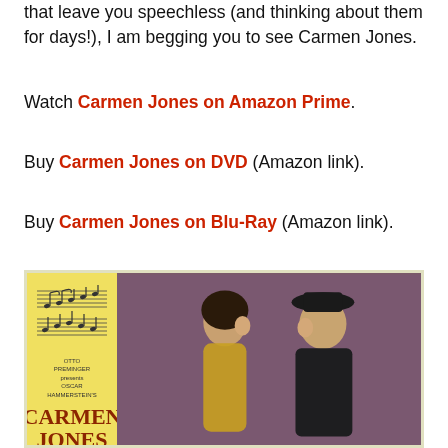that leave you speechless (and thinking about them for days!), I am begging you to see Carmen Jones.
Watch Carmen Jones on Amazon Prime.
Buy Carmen Jones on DVD (Amazon link).
Buy Carmen Jones on Blu-Ray (Amazon link).
[Figure (photo): Vintage movie lobby card for Carmen Jones showing two figures facing each other on the right side (woman in yellow dress, man in dark hat and coat) against a purple background, and a yellow panel on the left with musical staff notation and the title CARMEN JONES in red-brown text, with credits for Otto Preminger presents Oscar Hammerstein's.]